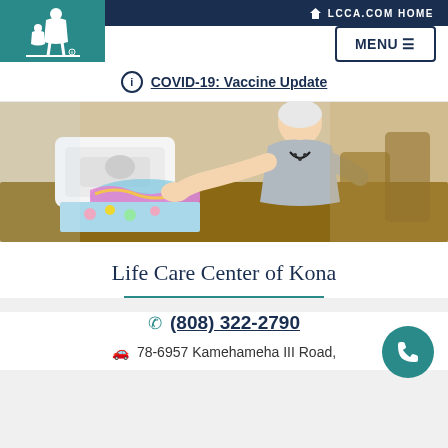[Figure (logo): Life Care Centers of America logo - white figure of adult and child on teal background]
LCCA.COM HOME
MENU ≡
ⓘ COVID-19: Vaccine Update
[Figure (photo): Elderly woman using a sewing machine at a table in a care facility activity room]
Life Care Center of Kona
(808) 322-2790
78-6957 Kamehameha III Road,